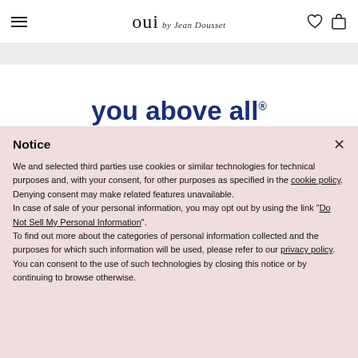oui by Jean Dousset
[Figure (illustration): Partially visible text reading 'you above all' in dark blue bold serif font on white background]
Notice
We and selected third parties use cookies or similar technologies for technical purposes and, with your consent, for other purposes as specified in the cookie policy. Denying consent may make related features unavailable.
In case of sale of your personal information, you may opt out by using the link "Do Not Sell My Personal Information".
To find out more about the categories of personal information collected and the purposes for which such information will be used, please refer to our privacy policy.
You can consent to the use of such technologies by closing this notice or by continuing to browse otherwise.